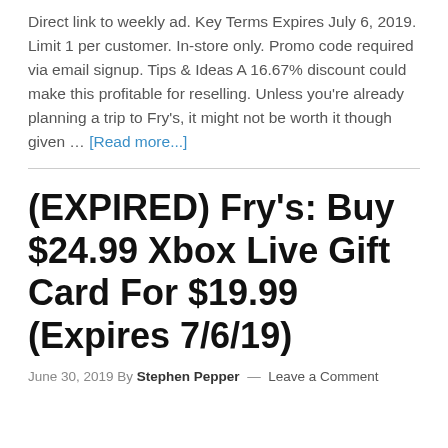Direct link to weekly ad. Key Terms Expires July 6, 2019. Limit 1 per customer. In-store only. Promo code required via email signup. Tips & Ideas A 16.67% discount could make this profitable for reselling. Unless you're already planning a trip to Fry's, it might not be worth it though given … [Read more...]
(EXPIRED) Fry's: Buy $24.99 Xbox Live Gift Card For $19.99 (Expires 7/6/19)
June 30, 2019 By Stephen Pepper — Leave a Comment